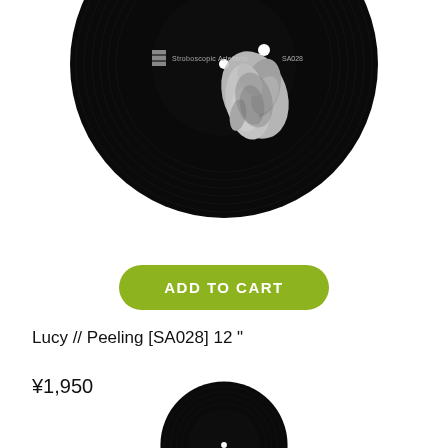[Figure (photo): Vinyl record with black label showing Stroboscopic Artefacts logo and SA028 catalog number, with a white organic/floral object image in the lower right portion of the label]
ADD TO CART
Lucy // Peeling [SA028] 12 "
¥1,950
[Figure (photo): Partial vinyl record visible at bottom of page, cropped circle showing only the top arc]